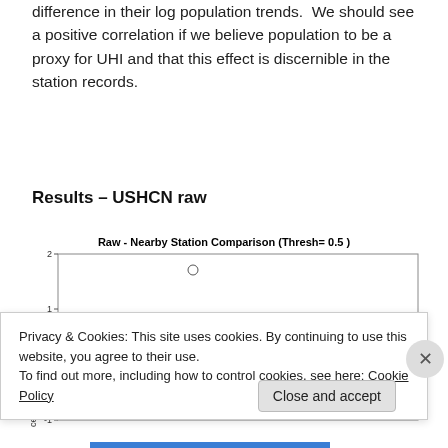difference in their log population trends. We should see a positive correlation if we believe population to be a proxy for UHI and that this effect is discernible in the station records.
Results – USHCN raw
[Figure (continuous-plot): Scatter plot titled 'Raw - Nearby Station Comparison (Thresh= 0.5)' showing difference in temperature trends (y-axis: 'ce of Temp Trends', range approximately -1 to 2) vs log population difference (x-axis), with many open circles and a positive regression line.]
Privacy & Cookies: This site uses cookies. By continuing to use this website, you agree to their use.
To find out more, including how to control cookies, see here: Cookie Policy
Close and accept